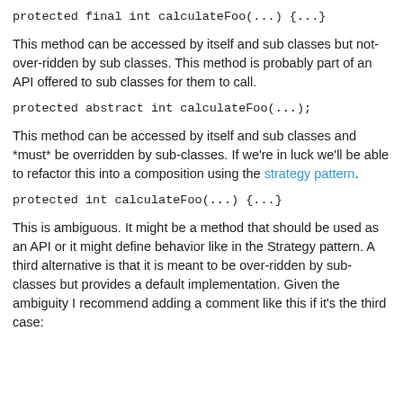protected final int calculateFoo(...) {...}
This method can be accessed by itself and sub classes but not-over-ridden by sub classes. This method is probably part of an API offered to sub classes for them to call.
protected abstract int calculateFoo(...);
This method can be accessed by itself and sub classes and *must* be overridden by sub-classes. If we're in luck we'll be able to refactor this into a composition using the strategy pattern.
protected int calculateFoo(...) {...}
This is ambiguous. It might be a method that should be used as an API or it might define behavior like in the Strategy pattern. A third alternative is that it is meant to be over-ridden by sub-classes but provides a default implementation. Given the ambiguity I recommend adding a comment like this if it's the third case: